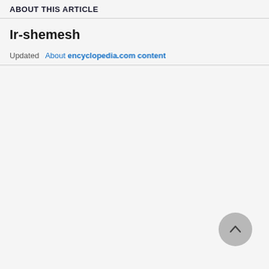ABOUT THIS ARTICLE
Ir-shemesh
Updated   About encyclopedia.com content